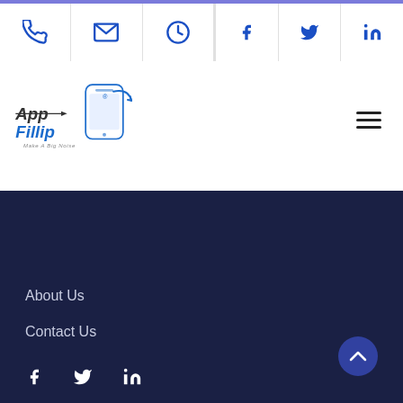AppFillip website header with phone, email, clock icons and Facebook, Twitter, LinkedIn social icons
[Figure (logo): AppFillip logo with smartphone graphic and 'Make A Big Noise' tagline]
Footer with About Us, Contact Us links and Facebook, Twitter, LinkedIn social icons